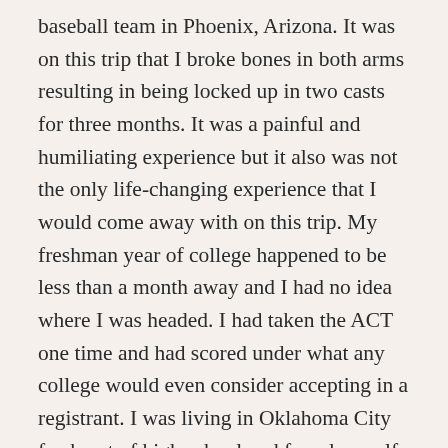baseball team in Phoenix, Arizona. It was on this trip that I broke bones in both arms resulting in being locked up in two casts for three months. It was a painful and humiliating experience but it also was not the only life-changing experience that I would come away with on this trip. My freshman year of college happened to be less than a month away and I had no idea where I was headed. I had taken the ACT one time and had scored under what any college would even consider accepting in a registrant. I was living in Oklahoma City fresh out of high school and found myself with the common feelings of “cabin fever” in the city that watched me grow. I never saw myself venturing too far from my parents but I went from having no idea of where to go, to within a matter of